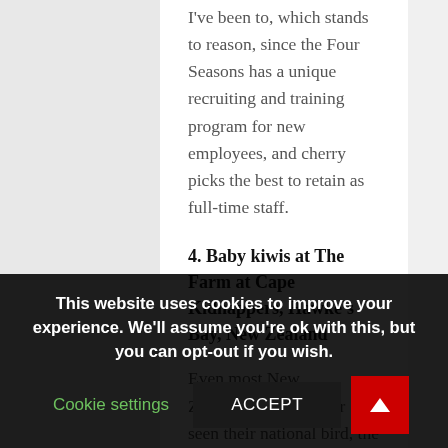I've been to, which stands to reason, since the Four Seasons has a unique recruiting and training program for new employees, and cherry picks the best to retain as full-time staff.
4. Baby kiwis at The Farm at Cape Kidnappers, Hawke's Bay, New Zealand
Even most New Zealanders have never seen their national bird, the endangered kiwi, in the wild, so The Farm at Cape Kidnappers' Kiwi Discovery Walk is truly
This website uses cookies to improve your experience. We'll assume you're ok with this, but you can opt-out if you wish.